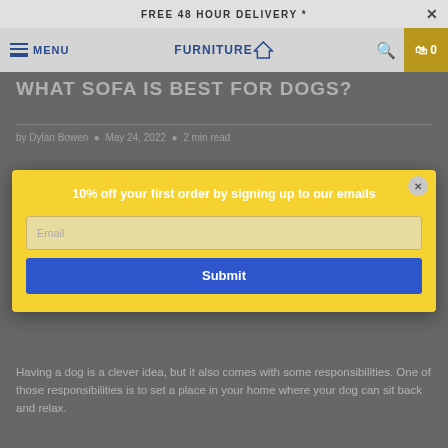FREE 48 HOUR DELIVERY *
WHAT SOFA IS BEST FOR DOGS?
by Dylan Bowen  •  May 24, 2022  •  2 min read
[Figure (screenshot): Email signup modal popup with yellow background. Headline: '10% off your first order by signing up to our emails'. Email input field with placeholder 'Email'. Blue submit button labeled 'Submit'.]
Having a dog is a clever idea, but it also comes with some responsibilities. One of those responsibilities is to set a place in your home where your dog can sit back and relax.
After evaluating many sofas for dogs, we discovered some of the best pet sofas that you may purchase for your dogs. These pet sofas are stylish, made of great materials, and fit the interior of